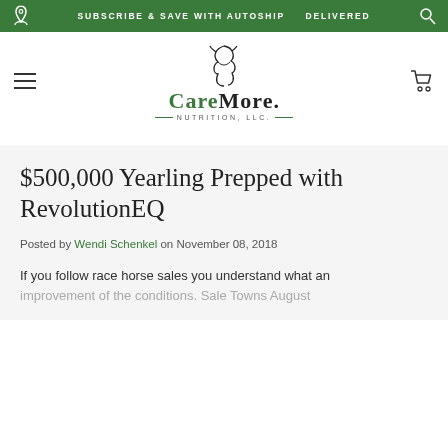SUBSCRIBE & SAVE WITH AUTOSHIP   DELIVERED
[Figure (logo): CareMore Nutrition LLC logo with horse head illustration above the text CAREMORE NUTRITION, LLC.]
$500,000 Yearling Prepped with RevolutionEQ
Posted by Wendi Schenkel on November 08, 2018
If you follow race horse sales you understand what an improvement of the conditions. Sale Towns August